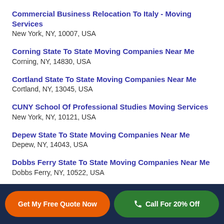Commercial Business Relocation To Italy - Moving Services
New York, NY, 10007, USA
Corning State To State Moving Companies Near Me
Corning, NY, 14830, USA
Cortland State To State Moving Companies Near Me
Cortland, NY, 13045, USA
CUNY School Of Professional Studies Moving Services
New York, NY, 10121, USA
Depew State To State Moving Companies Near Me
Depew, NY, 14043, USA
Dobbs Ferry State To State Moving Companies Near Me
Dobbs Ferry, NY, 10522, USA
Dunkirk State To State Moving Companies Near Me (partial, cut off)